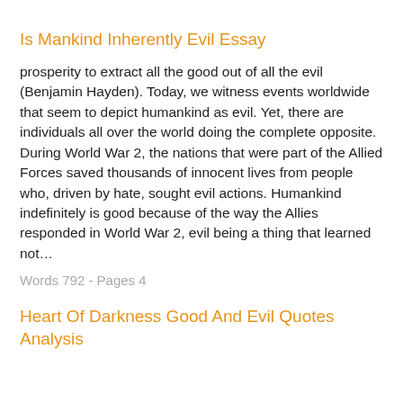Is Mankind Inherently Evil Essay
prosperity to extract all the good out of all the evil (Benjamin Hayden). Today, we witness events worldwide that seem to depict humankind as evil. Yet, there are individuals all over the world doing the complete opposite. During World War 2, the nations that were part of the Allied Forces saved thousands of innocent lives from people who, driven by hate, sought evil actions. Humankind indefinitely is good because of the way the Allies responded in World War 2, evil being a thing that learned not…
Words 792 - Pages 4
Heart Of Darkness Good And Evil Quotes Analysis